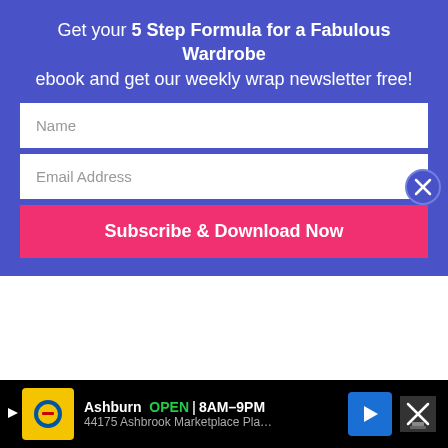Get your 5 Step Formula for a Fabulous Wardrobe ebook and get our weekly wrap newsletter free!
Name
Email Address
Subscribe & Download Now
because some seasons my colours are not trending. I try to get Classic Natural items that express me so it doesn't really matter if I can't get anything for a season or three.
I remember reading that once we used to fit the dress to the body now we try to fit the body to the dress....so to save
Ashburn  OPEN | 8AM–9PM  44175 Ashbrook Marketplace Pla…